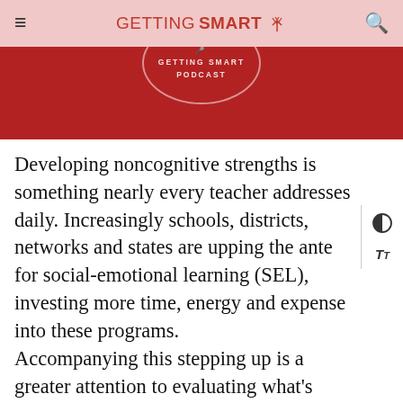GETTING SMART
[Figure (logo): Getting Smart Podcast circular logo on red banner background]
Developing noncognitive strengths is something nearly every teacher addresses daily. Increasingly schools, districts, networks and states are upping the ante for social-emotional learning (SEL), investing more time, energy and expense into these programs. Accompanying this stepping up is a greater attention to evaluating what's working and for whom by collecting evidence and assessing needs, opportunities and impact. In this podcast, Megan and Cat speak with